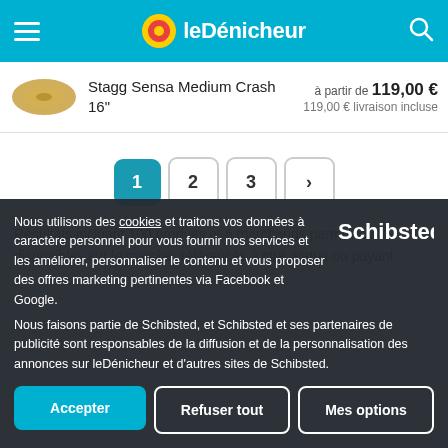leDénicheur
Stagg Sensa Medium Crash 16" — à partir de 119,00 € — 119,00 € livraison incluse
Pagination: 1 2 3 >
Résultats incluant 100 produits et 6 marchands parmi les offres disponibles sur le marché, référencés à titre gratuit ou payant
Nous utilisons des cookies et traitons vos données à caractère personnel pour vous fournir nos services et les améliorer, personnaliser le contenu et vous proposer des offres marketing pertinentes via Facebook et Google. Nous faisons partie de Schibsted, et Schibsted et ses partenaires de publicité sont responsables de la diffusion et de la personnalisation des annonces sur leDénicheur et d'autres sites de Schibsted.